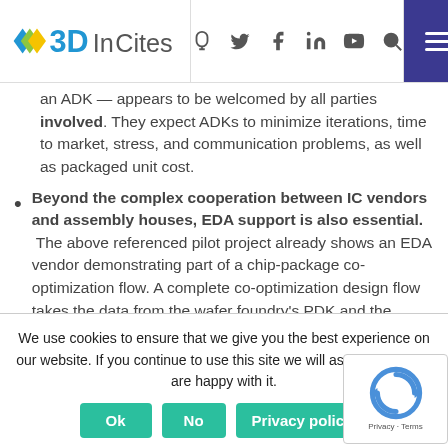3DInCites
an ADK — appears to be welcomed by all parties involved. They expect ADKs to minimize iterations, time to market, stress, and communication problems, as well as packaged unit cost.
Beyond the complex cooperation between IC vendors and assembly houses, EDA support is also essential. The above referenced pilot project already shows an EDA vendor demonstrating part of a chip-package co-optimization flow. A complete co-optimization design flow takes the data from the wafer foundry's PDK and the assembly partner's ADK and allows the customer's design team, comprising IC- and package experts, to
We use cookies to ensure that we give you the best experience on our website. If you continue to use this site we will assume that you are happy with it.